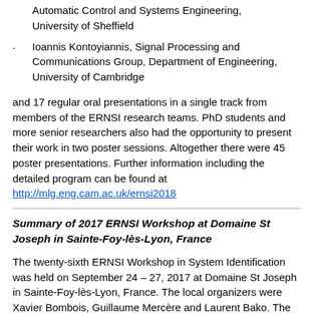Automatic Control and Systems Engineering, University of Sheffield
Ioannis Kontoyiannis, Signal Processing and Communications Group, Department of Engineering, University of Cambridge
and 17 regular oral presentations in a single track from members of the ERNSI research teams. PhD students and more senior researchers also had the opportunity to present their work in two poster sessions. Altogether there were 45 poster presentations. Further information including the detailed program can be found at http://mlg.eng.cam.ac.uk/ernsi2018
Summary of 2017 ERNSI Workshop at Domaine St Joseph in Sainte-Foy-lès-Lyon, France
The twenty-sixth ERNSI Workshop in System Identification was held on September 24 – 27, 2017 at Domaine St Joseph in Sainte-Foy-lès-Lyon, France. The local organizers were Xavier Bombois, Guillaume Mercère and Laurent Bako. The co-chair for the program was Paul Van den Hof. The workshop had 99 participants. The program consisted of two